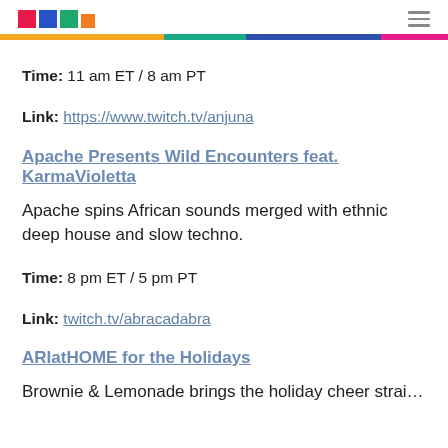[Logo: colored squares] [hamburger menu]
Time: 11 am ET / 8 am PT
Link: https://www.twitch.tv/anjuna
Apache Presents Wild Encounters feat. KarmaVioletta
Apache spins African sounds merged with ethnic deep house and slow techno.
Time: 8 pm ET / 5 pm PT
Link: twitch.tv/abracadabra
ARIatHOME for the Holidays
Brownie & Lemonade brings the holiday cheer straight